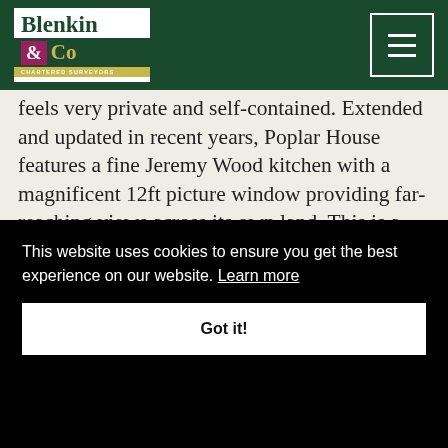Blenkin & Co – Chartered Surveyors
feels very private and self-contained. Extended and updated in recent years, Poplar House features a fine Jeremy Wood kitchen with a magnificent 12ft picture window providing far-reaching views across its own land. This is a rural sanctuary where wildlife can be enjoyed in
...3000
...t
Large principal rooms with bright and light
This website uses cookies to ensure you get the best experience on our website. Learn more
Got it!